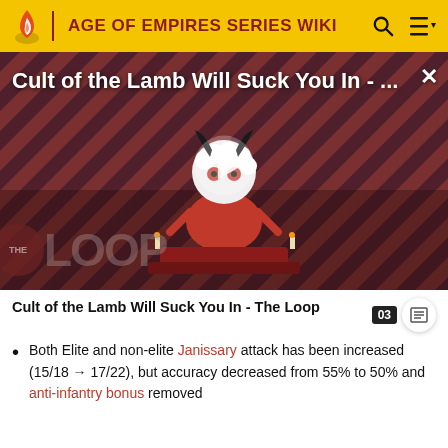AGE OF EMPIRES SERIES WIKI
[Figure (screenshot): Video thumbnail for 'Cult of the Lamb Will Suck You In - The Loop' showing a cartoon lamb character in a villain pose with a red and dark diagonal stripe background, with a large play button overlay and THE LOOP watermark in the lower left.]
Cult of the Lamb Will Suck You In - The Loop 03
Both Elite and non-elite Janissary attack has been increased (15/18 → 17/22), but accuracy decreased from 55% to 50% and anti-infantry bonus removed